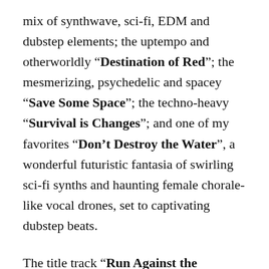mix of synthwave, sci-fi, EDM and dubstep elements; the uptempo and otherworldly “Destination of Red”; the mesmerizing, psychedelic and spacey “Save Some Space”; the techno-heavy “Survival is Changes”; and one of my favorites “Don’t Destroy the Water”, a wonderful futuristic fantasia of swirling sci-fi synths and haunting female chorale-like vocal drones, set to captivating dubstep beats.
The title track “Run Against the Sequence” encapsulates everything the album is about, which is the struggle to reach a point of mental clarity and emotional freedom from bad habits and addictions that have kept you enslaved: “Every step that I take will get me closer to awake. Every love that you find will get you closer to